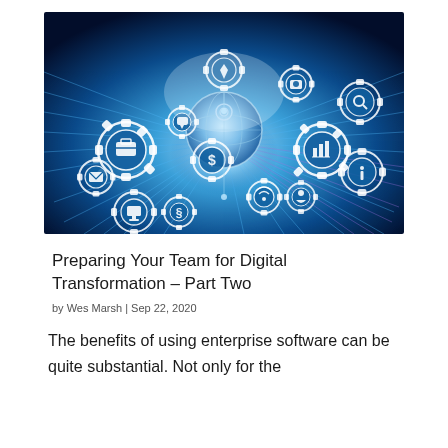[Figure (illustration): Digital transformation concept image showing interconnected white gear icons with technology symbols (briefcase, email, chart, magnifying glass, globe, etc.) on a vibrant blue background with light rays radiating outward and purple accents.]
Preparing Your Team for Digital Transformation – Part Two
by Wes Marsh | Sep 22, 2020
The benefits of using enterprise software can be quite substantial. Not only for the